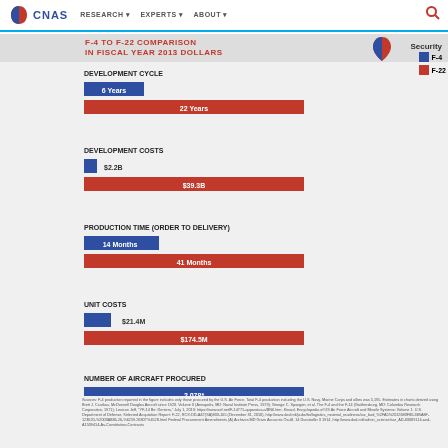CNAS | RESEARCH | EXPERTS | ABOUT
F-4 TO F-22 COMPARISON IN FISCAL YEAR 2013 DOLLARS
[Figure (bar-chart): DEVELOPMENT CYCLE]
[Figure (bar-chart): DEVELOPMENT COSTS]
[Figure (bar-chart): PRODUCTION TIME (ORDER TO DELIVERY)]
[Figure (bar-chart): UNIT COSTS]
[Figure (bar-chart): NUMBER OF AIRCRAFT PROCURED]
Sources: F-4 production reported in the figure includes only those procured by the U.S. Air Force. Total F-4 production including the U.S. Navy, Marine Corps and allies was 5,195. Estimates in charts derived using Brett J. Csutkas, McDonnell Douglas Aircraft since 1920. Volume II (Annapolis, MD: Naval Institute Press, 1979); George C. Spangier, et al. The F-4 and the F-14 (Gaithersburg, MD: Columbia Research Corporation, 1971); Lexicon Jeff, "YF-14 Be: Denters," July 1, 2013; https://www.aef.net/F-14771-apparatus-a/BN6.htm; Kinard, Encyclopedia of US Air Force Aircraft and Missile Systems: Volume 1. U.S. Department of Defense, Selected Acquisition Report: F-22, RCS:DD-A&T(SA)803-165 (December 31, 2010), http://www.dod.mil/pubs/foi/logistics_material_readiness/sar_bod...